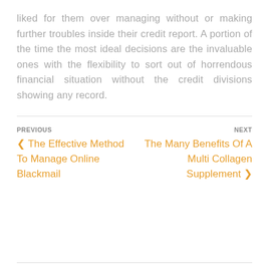liked for them over managing without or making further troubles inside their credit report. A portion of the time the most ideal decisions are the invaluable ones with the flexibility to sort out of horrendous financial situation without the credit divisions showing any record.
PREVIOUS
❮ The Effective Method To Manage Online Blackmail
NEXT
The Many Benefits Of A Multi Collagen Supplement ❯